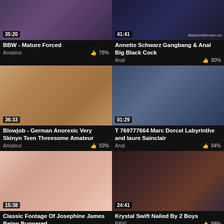[Figure (screenshot): Video thumbnail row 1 left - BBW Mature Forced, duration 35:20]
BBW - Mature Forced
Amateur  78%
[Figure (screenshot): Video thumbnail row 1 right - Annette Schwarz Gangbang & Anal Big Black Cock, duration 41:41]
Annette Schwarz Gangbang & Anal Big Black Cock
Anal  90%
[Figure (screenshot): Video thumbnail row 2 left - Blowjob German Anorexic Very Skinyn Teen Threesome Amateur, duration 36:33]
Blowjob - German Anorexic Very Skinyn Teen Threesome Amateur
Amateur  93%
[Figure (screenshot): Video thumbnail row 2 right - T 769777664 Marc Dorcel Labyrinthe and laure Sainclair, duration 01:29]
T 769777664 Marc Dorcel Labyrinthe and laure Sainclair
Anal  94%
[Figure (screenshot): Video thumbnail row 3 left - Classic Footage Of Josephine James Being Buggered, duration 15:38]
Classic Footage Of Josephine James Being Buggered
Anal  87%
[Figure (screenshot): Video thumbnail row 3 right - Krystal Swift Nailed By 2 Boys, duration 24:41]
Krystal Swift Nailed By 2 Boys
BBW  98%
[Figure (screenshot): Video thumbnail row 4 left - partially visible]
[Figure (screenshot): Video thumbnail row 4 right - partially visible]